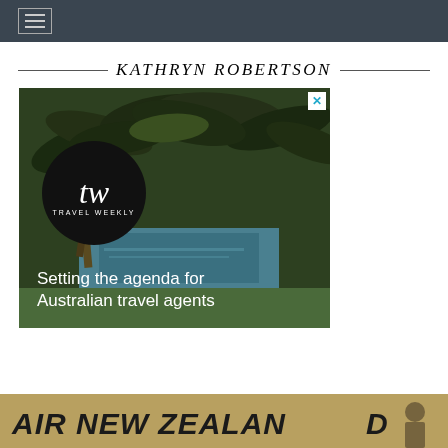KATHRYN ROBERTSON
[Figure (advertisement): Travel Weekly advertisement showing tropical palm tree canal scene with TW circular logo and tagline 'Setting the agenda for Australian travel agents']
[Figure (photo): Bottom strip showing Air New Zealand logo/signage in dark text on warm background]